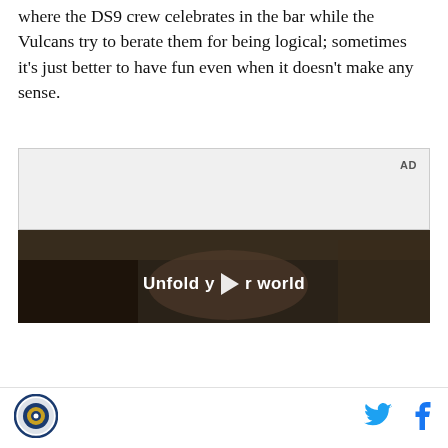where the DS9 crew celebrates in the bar while the Vulcans try to berate them for being logical; sometimes it's just better to have fun even when it doesn't make any sense.
[Figure (other): Advertisement video player showing a person holding a foldable smartphone inside a car, with the text 'Unfold your world' overlaid and a play button. Labeled 'AD' in the top right corner.]
[Figure (logo): Circular logo with blue border, appears to be a sports or media organization logo]
[Figure (other): Twitter bird icon (social share button)]
[Figure (other): Facebook 'f' icon (social share button)]